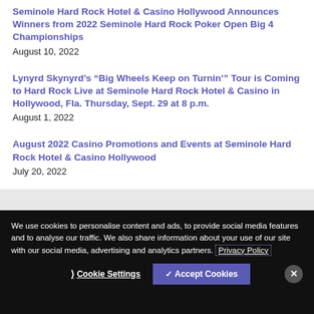Seminole Hard Rock Hotel & Casino Hollywood Announces Winners from 2022 Seminole Hard Rock Poker Open Big 4 Championships
August 10, 2022
Lynyrd Skynyrd's “Big Wheels Keep on Turnin’” Tour is Coming to Hard Rock Live at Seminole Hard Rock Hotel & Casino in Hollywood, Fla. Thursday, Sept. 29 at 8 p.m.
August 1, 2022
August 2022 Casino Promotions and Events at Seminole Hard Rock Hotel & Casino Hollywood
July 20, 2022
We use cookies to personalise content and ads, to provide social media features and to analyse our traffic. We also share information about your use of our site with our social media, advertising and analytics partners. Privacy Policy